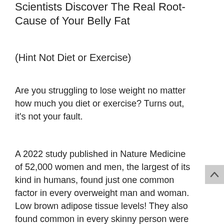Scientists Discover The Real Root-Cause of Your Belly Fat
(Hint Not Diet or Exercise)
Are you struggling to lose weight no matter how much you diet or exercise? Turns out, it's not your fault.
A 2022 study published in Nature Medicine of 52,000 women and men, the largest of its kind in humans, found just one common factor in every overweight man and woman. Low brown adipose tissue levels! They also found common in every skinny person were high brown adipose tissue levels.1